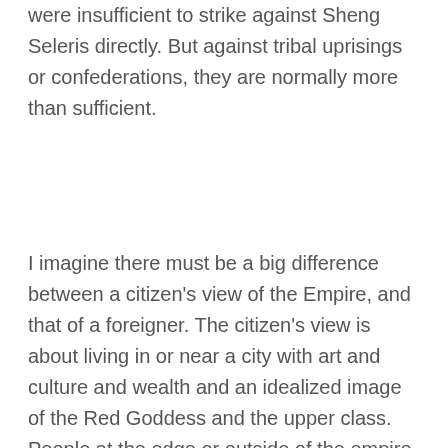were insufficient to strike against Sheng Seleris directly. But against tribal uprisings or confederations, they are normally more than sufficient.
I imagine there must be a big difference between a citizen's view of the Empire, and that of a foreigner. The citizen's view is about living in or near a city with art and culture and wealth and an idealized image of the Red Goddess and the upper class. People at the edge or outside of the empire see it as a ruthless imperialist machine with weapons of mass destruction, a highly corrupt and potentially insane